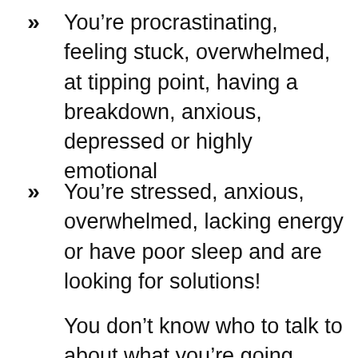You’re procrastinating, feeling stuck, overwhelmed, at tipping point, having a breakdown, anxious, depressed or highly emotional
You’re stressed, anxious, overwhelmed, lacking energy or have poor sleep and are looking for solutions!
You don’t know who to talk to about what you’re going